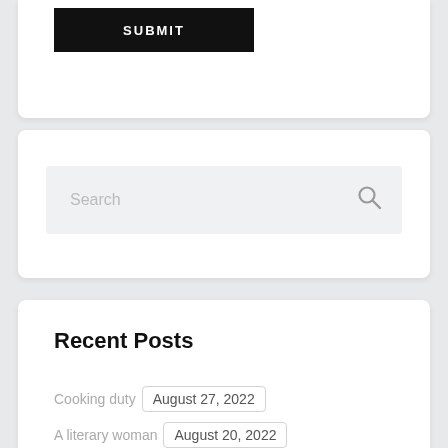[Figure (screenshot): Black SUBMIT button on white card background]
[Figure (screenshot): Search input box with magnifying glass icon on light gray background]
Recent Posts
Cooking duty  August 27, 2022
A literary woman  August 20, 2022